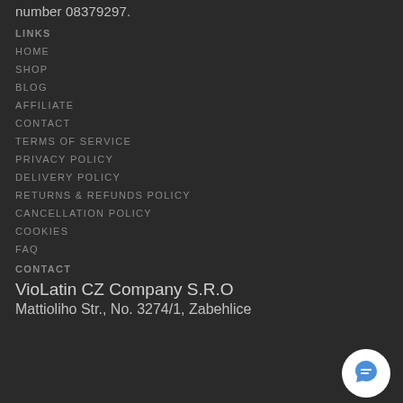number 08379297.
LINKS
HOME
SHOP
BLOG
AFFILIATE
CONTACT
TERMS OF SERVICE
PRIVACY POLICY
DELIVERY POLICY
RETURNS & REFUNDS POLICY
CANCELLATION POLICY
COOKIES
FAQ
CONTACT
VioLatin CZ Company S.R.O
Mattioliho Str., No. 3274/1, Zabehlice